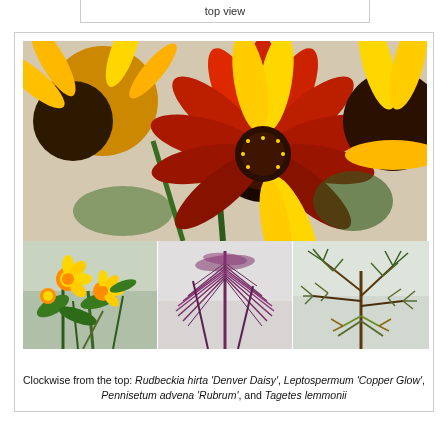top view
[Figure (photo): Composite photo: top image shows close-up of Rudbeckia hirta 'Denver Daisy' flowers with yellow and deep red petals; bottom row shows three smaller photos of Tagetes lemmonii (yellow flowers), Pennisetum advena 'Rubrum' (purple grass), and Leptospermum 'Copper Glow' (green foliage).]
Clockwise from the top: Rudbeckia hirta 'Denver Daisy', Leptospermum 'Copper Glow', Pennisetum advena 'Rubrum', and Tagetes lemmonii